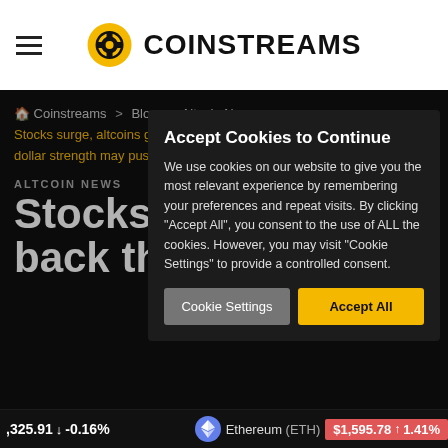Coinstreams
Coinstreams > Blog > Altcoin News > Stocks surge, altcoins give back their gains and dollar strength may push Bitcoin lower
ALTCOIN NEWS
Stocks s… back th…
Accept Cookies to Continue
We use cookies on our website to give you the most relevant experience by remembering your preferences and repeat visits. By clicking "Accept All", you consent to the use of ALL the cookies. However, you may visit "Cookie Settings" to provide a controlled consent.
Cookie Settings   Accept All
,325.91 ↓ -0.16%   Ethereum (ETH) $1,595.78 ↑ 1.41%